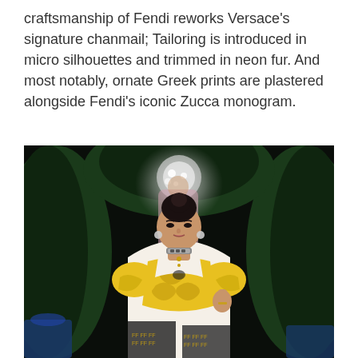craftsmanship of Fendi reworks Versace's signature chanmail; Tailoring is introduced in micro silhouettes and trimmed in neon fur. And most notably, ornate Greek prints are plastered alongside Fendi's iconic Zucca monogram.
[Figure (photo): A model walks the runway wearing a yellow and black Fendace (Fendi x Versace) outfit with baroque Greek prints and Fendi Zucca monogram. She wears a statement necklace and has her hair up. In the background, another model in a pink outfit is visible amid a lush green arch and a large crystal chandelier.]